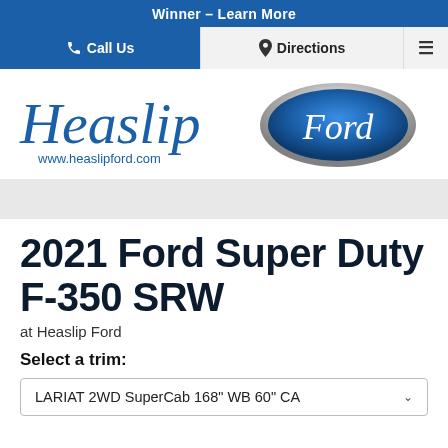Winner – Learn More
Call Us | Directions | Menu
[Figure (logo): Heaslip Ford dealership logo with cursive Heaslip text in blue, Ford oval badge, and www.heaslipford.com URL]
2021 Ford Super Duty F-350 SRW
at Heaslip Ford
Select a trim:
LARIAT 2WD SuperCab 168" WB 60" CA